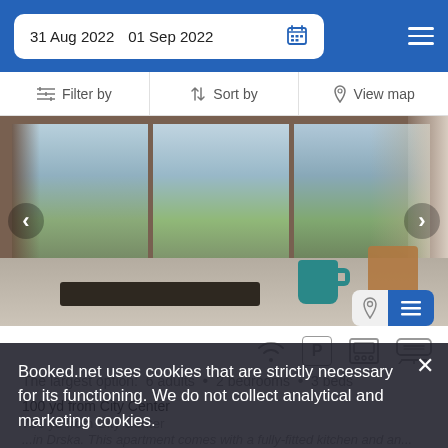31 Aug 2022  01 Sep 2022
Filter by  Sort by  View map
[Figure (photo): Hotel room interior with large windows showing a European city with church steeple, orange rooftops, greenery; room contains a table with a tray, a teal/blue coffee mug, wooden stool, and curtains.]
The largest option:  6 adults  •  2 bedrooms  •  3 beds
100 yd from City Center
700 yd from City Center
...in Drska. This apartment comes with a fully-fitted kitchen and an...
Booked.net uses cookies that are strictly necessary for its functioning. We do not collect analytical and marketing cookies.